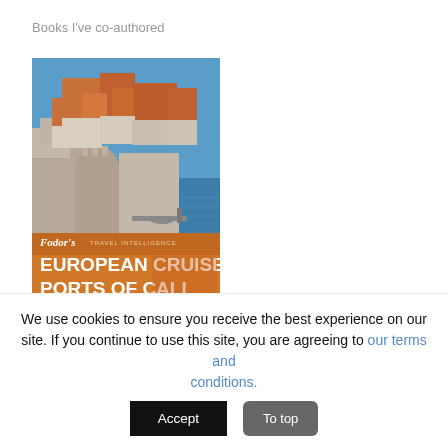Books I've co-authored
[Figure (photo): Book cover of Fodor's European Cruise Ports of Call travel guide, showing Dubrovnik coastal cityscape with orange/terracotta rooftops and medieval walls above blue Adriatic water. Orange banner reads: Fodor's Travel Intelligence, EUROPEAN CRUISE PORTS OF CALL, PLANNING TIPS | TOP SIGHTS | SHOPPING | LUNCH ASHORE]
We use cookies to ensure you receive the best experience on our site. If you continue to use this site, you are agreeing to our terms and conditions.
Accept
To top